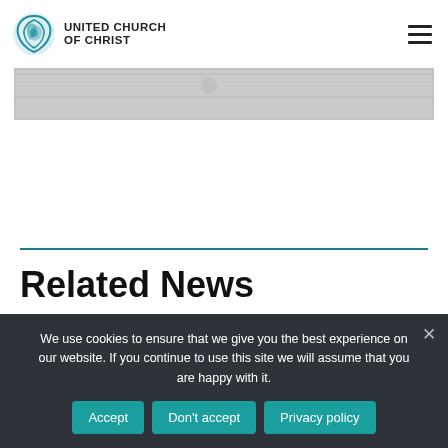UNITED CHURCH OF CHRIST
[Figure (photo): Partial banner image showing a light gray textured surface, appears to be stone or concrete]
Related News
We use cookies to ensure that we give you the best experience on our website. If you continue to use this site we will assume that you are happy with it.
Accept | Don't accept | Privacy policy